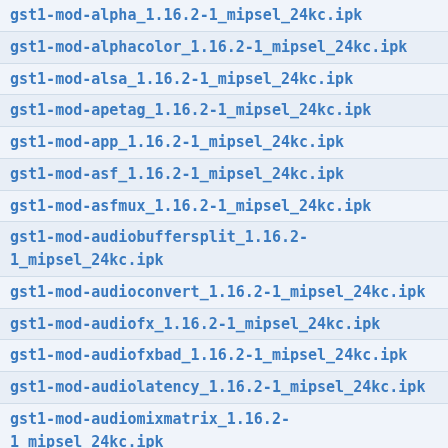gst1-mod-alpha_1.16.2-1_mipsel_24kc.ipk
gst1-mod-alphacolor_1.16.2-1_mipsel_24kc.ipk
gst1-mod-alsa_1.16.2-1_mipsel_24kc.ipk
gst1-mod-apetag_1.16.2-1_mipsel_24kc.ipk
gst1-mod-app_1.16.2-1_mipsel_24kc.ipk
gst1-mod-asf_1.16.2-1_mipsel_24kc.ipk
gst1-mod-asfmux_1.16.2-1_mipsel_24kc.ipk
gst1-mod-audiobuffersplit_1.16.2-1_mipsel_24kc.ipk
gst1-mod-audioconvert_1.16.2-1_mipsel_24kc.ipk
gst1-mod-audiofx_1.16.2-1_mipsel_24kc.ipk
gst1-mod-audiofxbad_1.16.2-1_mipsel_24kc.ipk
gst1-mod-audiolatency_1.16.2-1_mipsel_24kc.ipk
gst1-mod-audiomixmatrix_1.16.2-1_mipsel_24kc.ipk
gst1-mod-audioparsers_1.16.2-1_mipsel_24kc.ipk
gst1-mod-audiorate_1.16.2-1_mipsel_24kc.ipk
gst1-mod-audioresample_1.16.2-1_mipsel_24kc.ipk
gst1-mod-audiotestsrc_1.16.2-1_mipsel_24kc.ipk
gst1-mod-audiovisualizers_1.16.2-1_mipsel_24kc.ipk
gst1-mod-auparse_1.16.2-1_mipsel_24kc.ipk
gst1-mod-autoconvert_1.16.2-1_mipsel_24kc.ipk